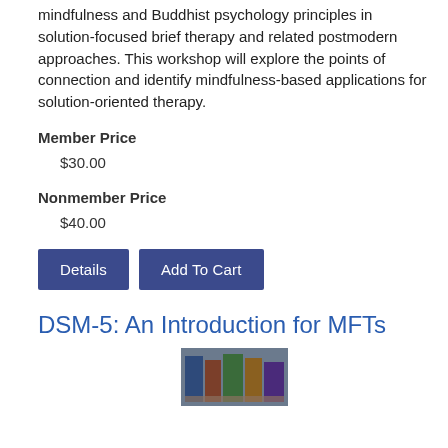mindfulness and Buddhist psychology principles in solution-focused brief therapy and related postmodern approaches. This workshop will explore the points of connection and identify mindfulness-based applications for solution-oriented therapy.
Member Price
$30.00
Nonmember Price
$40.00
Details | Add To Cart
DSM-5: An Introduction for MFTs
[Figure (photo): Stack of books photo]